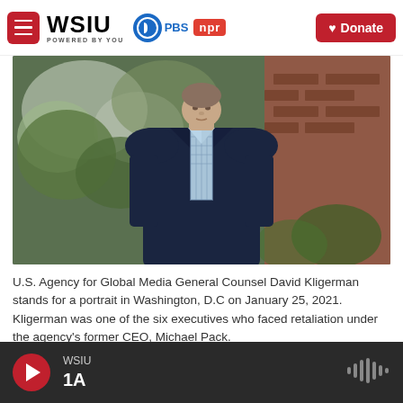WSIU POWERED BY YOU | PBS | npr | Donate
[Figure (photo): Portrait of David Kligerman, U.S. Agency for Global Media General Counsel, standing outdoors in Washington D.C. wearing a dark navy blazer over a light blue checked shirt, with trees and brick wall in background, taken January 25, 2021.]
U.S. Agency for Global Media General Counsel David Kligerman stands for a portrait in Washington, D.C on January 25, 2021. Kligerman was one of the six executives who faced retaliation under the agency's former CEO, Michael Pack.
WSIU 1A